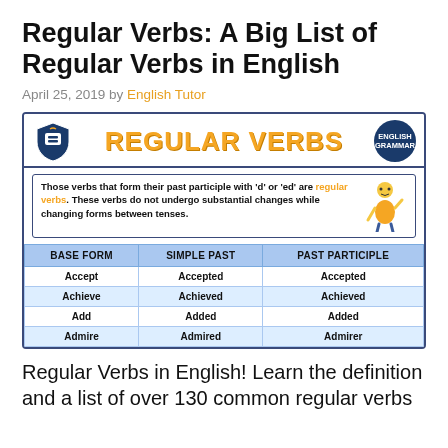Regular Verbs: A Big List of Regular Verbs in English
April 25, 2019 by English Tutor
[Figure (infographic): Infographic showing a table of regular verbs with BASE FORM, SIMPLE PAST, and PAST PARTICIPLE columns. Header reads REGULAR VERBS in orange with a shield logo and English Grammar badge. Definition box explains regular verbs. Table rows: Accept/Accepted/Accepted, Achieve/Achieved/Achieved, Add/Added/Added, Admire/Admired/Admirer.]
Regular Verbs in English! Learn the definition and a list of over 130 common regular verbs